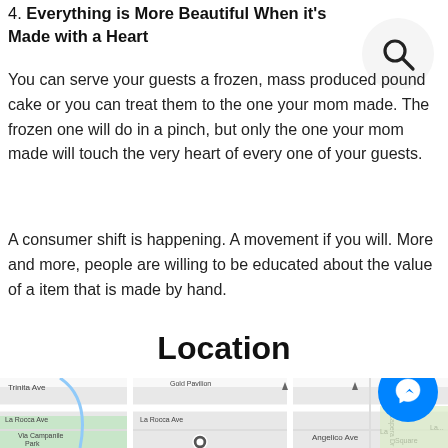4. Everything is More Beautiful When it's Made with a Heart
You can serve your guests a frozen, mass produced pound cake or you can treat them to the one your mom made. The frozen one will do in a pinch, but only the one your mom made will touch the very heart of every one of your guests.
A consumer shift is happening. A movement if you will. More and more, people are willing to be educated about the value of a item that is made by hand.
Location
[Figure (map): Google Maps screenshot showing street map with Trinita Ave, La Rocca Ave, Via Campanile Park, Angelico Ave, Capera Dr, and La Square visible. A location pin is shown near Angelico Ave.]